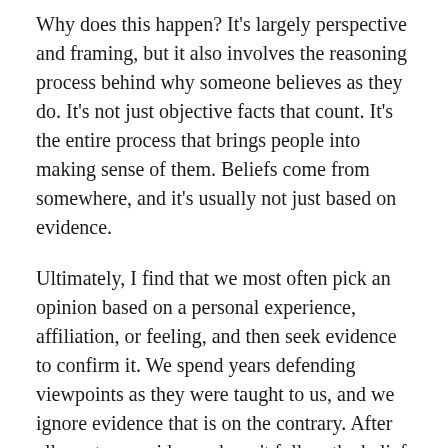Why does this happen? It's largely perspective and framing, but it also involves the reasoning process behind why someone believes as they do. It's not just objective facts that count. It's the entire process that brings people into making sense of them. Beliefs come from somewhere, and it's usually not just based on evidence.
Ultimately, I find that we most often pick an opinion based on a personal experience, affiliation, or feeling, and then seek evidence to confirm it. We spend years defending viewpoints as they were taught to us, and we ignore evidence that is on the contrary. After all, contrary evidence doesn't follow the belief system that we subscribe to. It doesn't follow the logical reasoning process that brought us to our own beliefs.
The most influencial factors include personal